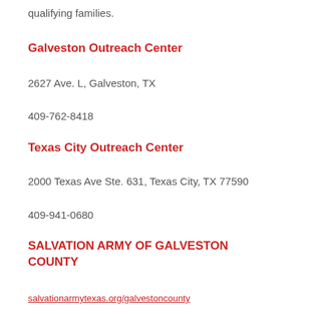qualifying families.
Galveston Outreach Center
2627 Ave. L, Galveston, TX
409-762-8418
Texas City Outreach Center
2000 Texas Ave Ste. 631, Texas City, TX 77590
409-941-0680
SALVATION ARMY OF GALVESTON COUNTY
salvationarmytexas.org/galvestoncounty